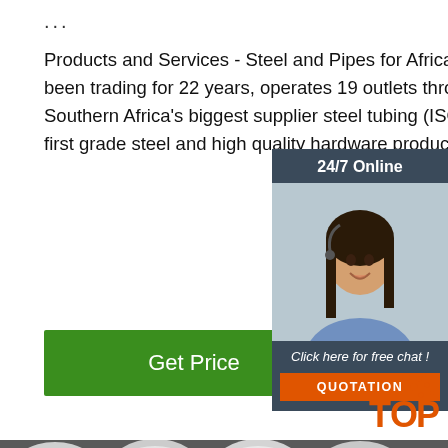...
Products and Services - Steel and Pipes for Africa is a national concern that, has been trading for 22 years, operates 19 outlets throughout South Africa and is Southern Africa's biggest supplier steel tubing (ISO & SABS certified) plus range of first grade steel and high quality hardware products.
[Figure (screenshot): Green 'Get Price' button]
[Figure (illustration): 24/7 Online chat widget with woman wearing headset, dark teal background, 'Click here for free chat!' text, and orange QUOTATION button]
[Figure (photo): Photo of steel bars/rods stacked together]
[Figure (logo): TOP logo in orange dots]